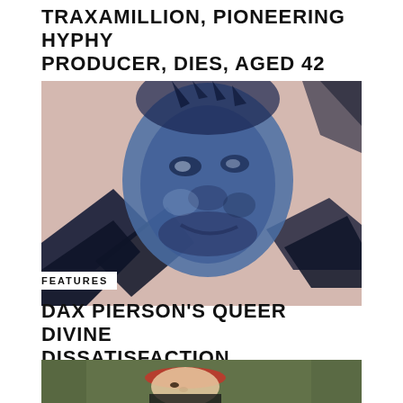TRAXAMILLION, PIONEERING HYPHY PRODUCER, DIES, AGED 42
[Figure (photo): Duotone blue/pink stylized portrait of a Black man with gray beard and short hair, smiling slightly, with geometric angular graphic elements in dark navy overlaying the background.]
FEATURES
DAX PIERSON'S QUEER DIVINE DISSATISFACTION
[Figure (photo): Partial photo of a person with a red headband lying back, wearing a black shirt, against a green/grey background. Only the top portion of the image is visible.]